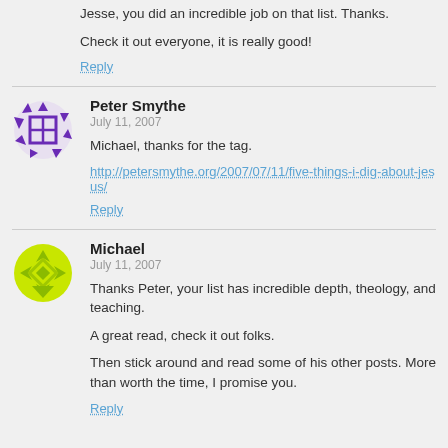Jesse, you did an incredible job on that list. Thanks.
Check it out everyone, it is really good!
Reply
Peter Smythe
July 11, 2007
Michael, thanks for the tag.
http://petersmythe.org/2007/07/11/five-things-i-dig-about-jesus/
Reply
Michael
July 11, 2007
Thanks Peter, your list has incredible depth, theology, and teaching.

A great read, check it out folks.

Then stick around and read some of his other posts. More than worth the time, I promise you.
Reply